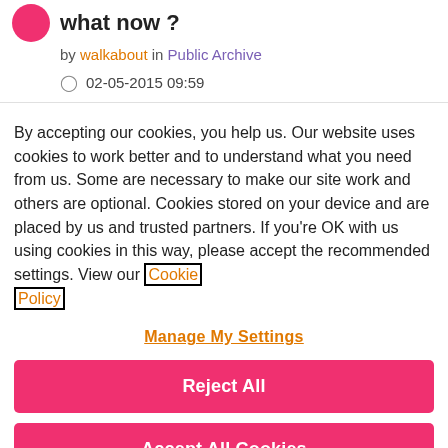what now ?
by walkabout in Public Archive
02-05-2015 09:59
By accepting our cookies, you help us. Our website uses cookies to work better and to understand what you need from us. Some are necessary to make our site work and others are optional. Cookies stored on your device and are placed by us and trusted partners. If you're OK with us using cookies in this way, please accept the recommended settings. View our Cookie Policy
Manage My Settings
Reject All
Accept All Cookies